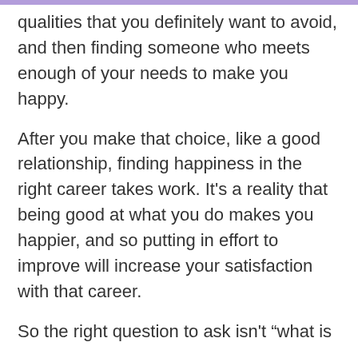qualities that you definitely want to avoid, and then finding someone who meets enough of your needs to make you happy.
After you make that choice, like a good relationship, finding happiness in the right career takes work. It's a reality that being good at what you do makes you happier, and so putting in effort to improve will increase your satisfaction with that career.
So the right question to ask isn’t “what is the right career for me?” but “what are the set of careers that pair well enough with who I am such that I can start taking steps to make it the right career for me and lead a fulfilling life?” Doesn’t quite have the same ring to it.